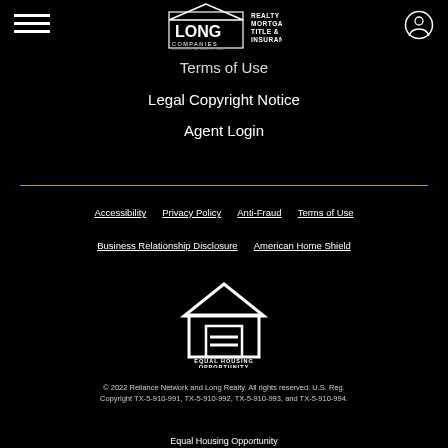[Figure (logo): Long Companies logo with Realty Mortgage Title & Insurance text, white on black]
Terms of Use
Legal Copyright Notice
Agent Login
Accessibility
Privacy Policy
Anti-Fraud
Terms of Use
Business Relationship Disclosure
American Home Shield
[Figure (logo): Equal Housing Opportunity logo — house with equals sign, white on black, with EQUAL HOUSING OPPORTUNITY text below]
© 2022 Reliance Network and Long Realty. All rights reserved. U.S. Reg. Copyright TX-5-910-991, TX-5-910-992, TX-5-910-993, and TX-5-910-994.
Equal Housing Opportunity